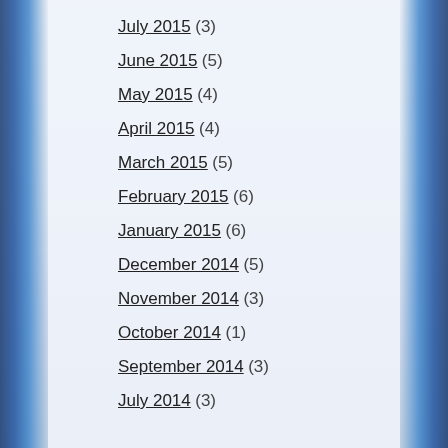July 2015 (3)
June 2015 (5)
May 2015 (4)
April 2015 (4)
March 2015 (5)
February 2015 (6)
January 2015 (6)
December 2014 (5)
November 2014 (3)
October 2014 (1)
September 2014 (3)
July 2014 (3)